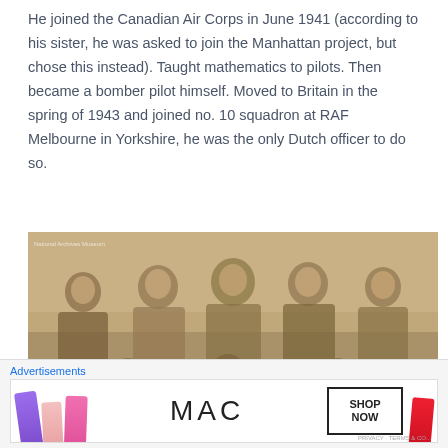He joined the Canadian Air Corps in June 1941 (according to his sister, he was asked to join the Manhattan project, but chose this instead). Taught mathematics to pilots. Then became a bomber pilot himself. Moved to Britain in the spring of 1943 and joined no. 10 squadron at RAF Melbourne in Yorkshire, he was the only Dutch officer to do so.
[Figure (photo): Black and white / sepia group photograph of several men in military flight gear or uniforms, seated and standing together outdoors. A small label or watermark appears in the top-left corner of the image.]
Advertisements
[Figure (photo): MAC cosmetics advertisement showing colorful lipsticks on the left, the MAC logo in the center, a 'SHOP NOW' box, and red lipsticks on the right.]